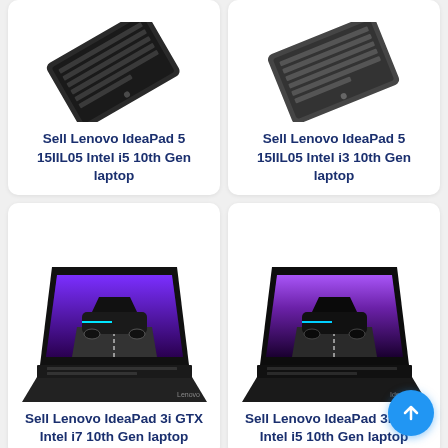[Figure (photo): Lenovo IdeaPad 5 15IIL05 laptop shown from above/side angle in dark gray]
Sell Lenovo IdeaPad 5 15IIL05 Intel i5 10th Gen laptop
[Figure (photo): Lenovo IdeaPad 5 15IIL05 laptop shown from above/side angle in gray]
Sell Lenovo IdeaPad 5 15IIL05 Intel i3 10th Gen laptop
[Figure (photo): Lenovo IdeaPad 3i GTX laptop open showing gaming wallpaper with race car]
Sell Lenovo IdeaPad 3i GTX Intel i7 10th Gen laptop
[Figure (photo): Lenovo IdeaPad 3i GTX laptop open showing gaming wallpaper with race car and purple tones]
Sell Lenovo IdeaPad 3i GTX Intel i5 10th Gen laptop